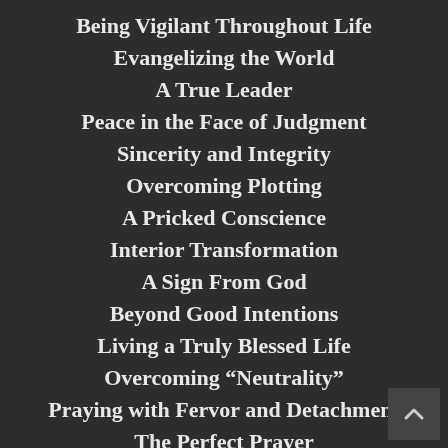Being Vigilant Throughout Life
Evangelizing the World
A True Leader
Peace in the Face of Judgment
Sincerity and Integrity
Overcoming Plotting
A Pricked Conscience
Interior Transformation
A Sign From God
Beyond Good Intentions
Living a Truly Blessed Life
Overcoming “Neutrality”
Praying with Fervor and Detachment
The Perfect Prayer